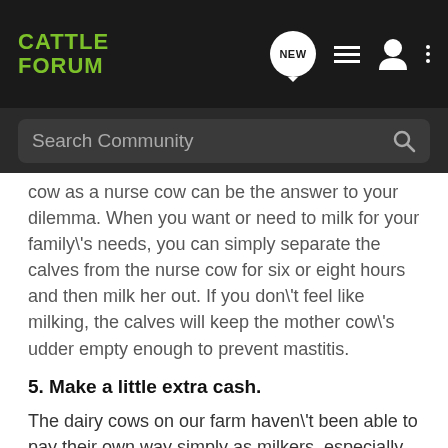CATTLE FORUM
Search Community
cow as a nurse cow can be the answer to your dilemma. When you want or need to milk for your family's needs, you can simply separate the calves from the nurse cow for six or eight hours and then milk her out. If you don't feel like milking, the calves will keep the mother cow's udder empty enough to prevent mastitis.
5. Make a little extra cash.
The dairy cows on our farm haven't been able to pay their own way simply as milkers, especially since selling raw milk is illegal in our state. By the time we bought the cows, fed them well enough to produce milk, and bought our milking and veterinary supplies, we were seriously in the financial hole with our dairy cows. Allowing the cows to raise a few extra calves each year